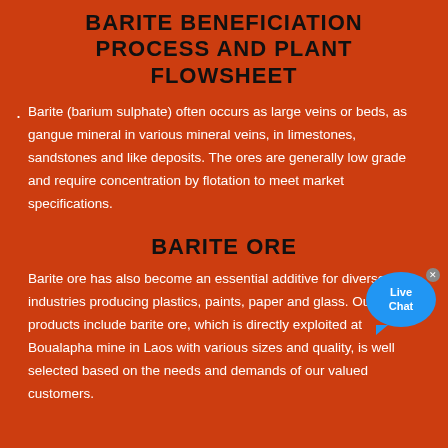BARITE BENEFICIATION PROCESS AND PLANT FLOWSHEET
Barite (barium sulphate) often occurs as large veins or beds, as gangue mineral in various mineral veins, in limestones, sandstones and like deposits. The ores are generally low grade and require concentration by flotation to meet market specifications.
BARITE ORE
Barite ore has also become an essential additive for diverse industries producing plastics, paints, paper and glass. Our products include barite ore, which is directly exploited at Boualapha mine in Laos with various sizes and quality, is well selected based on the needs and demands of our valued customers.